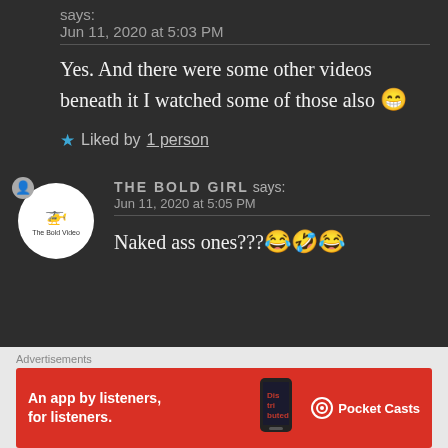says:
Jun 11, 2020 at 5:03 PM
Yes. And there were some other videos beneath it I watched some of those also 😁
★ Liked by 1 person
[Figure (logo): The Bold Girl blog logo in a white circle avatar]
THE BOLD GIRL says:
Jun 11, 2020 at 5:05 PM
Naked ass ones???😂🤣😂
Advertisements
[Figure (infographic): Pocket Casts advertisement banner: An app by listeners, for listeners.]